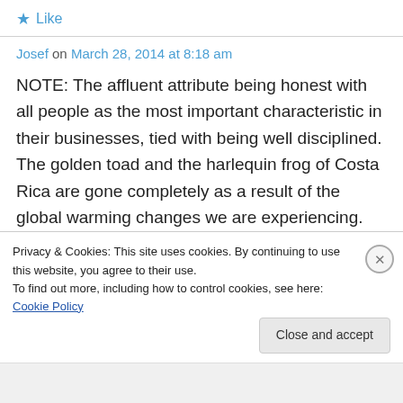★ Like
Josef on March 28, 2014 at 8:18 am
NOTE: The affluent attribute being honest with all people as the most important characteristic in their businesses, tied with being well disciplined. The golden toad and the harlequin frog of Costa Rica are gone completely as a result of the global warming changes we are experiencing.
Privacy & Cookies: This site uses cookies. By continuing to use this website, you agree to their use.
To find out more, including how to control cookies, see here: Cookie Policy
Close and accept